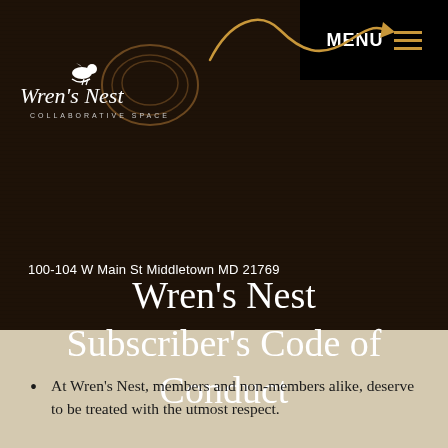[Figure (logo): Wren's Nest Collaborative Space logo with bird silhouette and circular nest illustration, white script text on dark brown background]
100-104 W Main St Middletown MD 21769
Wren's Nest Subscriber's Code of Conduct
At Wren's Nest, members and non-members alike, deserve to be treated with the utmost respect.